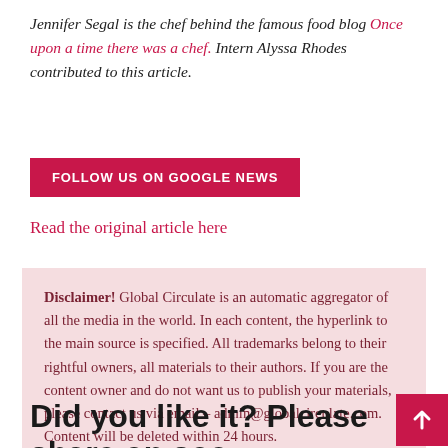Jennifer Segal is the chef behind the famous food blog Once upon a time there was a chef. Intern Alyssa Rhodes contributed to this article.
FOLLOW US ON GOOGLE NEWS
Read the original article here
Disclaimer! Global Circulate is an automatic aggregator of all the media in the world. In each content, the hyperlink to the main source is specified. All trademarks belong to their rightful owners, all materials to their authors. If you are the content owner and do not want us to publish your materials, please contact us via email – admin@globalcirculate.com. Content will be deleted within 24 hours.
Did you like it? Please share on soc